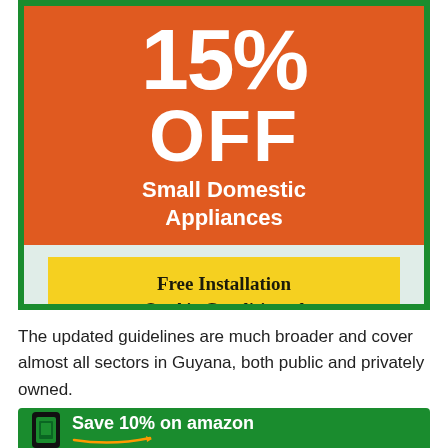[Figure (infographic): Promotional advertisement banner with green border on light mint background. Orange section at top shows '15% OFF Small Domestic Appliances'. Yellow section below shows 'Free Installation On Air Conditioned Units.']
The updated guidelines are much broader and cover almost all sectors in Guyana, both public and privately owned.
[Figure (infographic): Green banner advertisement showing a phone icon and text 'Save 10% on amazon' with Amazon smile arrow logo.]